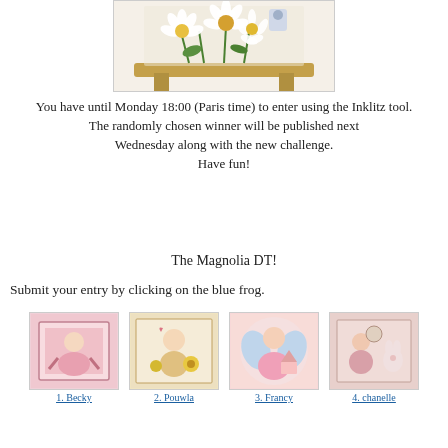[Figure (photo): Craft card with white daisy flowers and a wooden bench/structure, decorative embossed background]
You have until Monday 18:00 (Paris time) to enter using the Inklitz tool.
The randomly chosen winner will be published next Wednesday along with the new challenge.
Have fun!
The Magnolia DT!
Submit your entry by clicking on the blue frog.
[Figure (photo): Thumbnail 1 - Becky: craft card with Magnolia character in pink]
1. Becky
[Figure (photo): Thumbnail 2 - Pouwla: craft card with Magnolia character and yellow flowers]
2. Pouwla
[Figure (photo): Thumbnail 3 - Francy: craft card with Magnolia angel character in pink]
3. Francy
[Figure (photo): Thumbnail 4 - chanelle: craft card with Magnolia character in pink tones]
4. chanelle